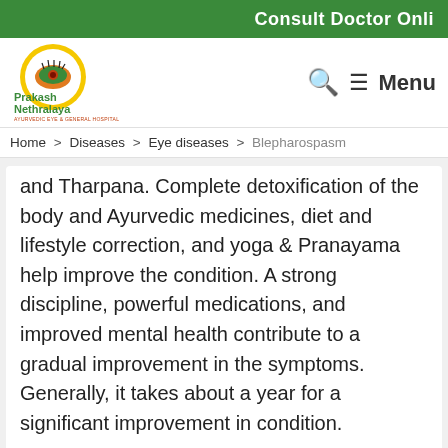Consult Doctor Onli
[Figure (logo): Prakash Nethralaya Ayurvedic Eye & General Hospital logo with circular eye graphic and green/yellow color scheme]
Menu
Home > Diseases > Eye diseases > Blepharospasm
and Tharpana. Complete detoxification of the body and Ayurvedic medicines, diet and lifestyle correction, and yoga & Pranayama help improve the condition. A strong discipline, powerful medications, and improved mental health contribute to a gradual improvement in the symptoms. Generally, it takes about a year for a significant improvement in condition.